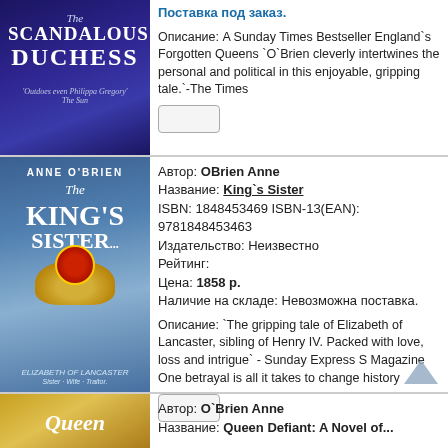[Figure (illustration): Book cover: The Scandalous Duchess, dark blue/purple background]
Поставка под заказ.
Описание: A Sunday Times Bestseller England`s Forgotten Queens `O`Brien cleverly intertwines the personal and political in this enjoyable, gripping tale.`-The Times
[Figure (illustration): Book cover: The King's Sister by Anne O'Brien, blue background with crown]
Автор: OBrien Anne
Название: King`s Sister
ISBN: 1848453469 ISBN-13(EAN): 9781848453463
Издательство: Неизвестно
Рейтинг:
Цена: 1858 р.
Наличие на складе: Невозможна поставка.
Описание: `The gripping tale of Elizabeth of Lancaster, sibling of Henry IV. Packed with love, loss and intrigue` - Sunday Express S Magazine One betrayal is all it takes to change history
[Figure (illustration): Book cover: Queen (partial), golden/yellow background]
Автор: O`Brien Anne
Название: Queen Defiant: A Novel of...